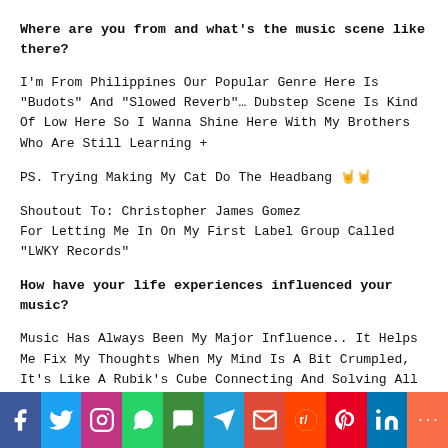Where are you from and what's the music scene like there?
I'm From Philippines Our Popular Genre Here Is "Budots" And "Slowed Reverb"… Dubstep Scene Is Kind Of Low Here So I Wanna Shine Here With My Brothers Who Are Still Learning +
PS. Trying Making My Cat Do The Headbang 🤘🤘
Shoutout To: Christopher James Gomez
For Letting Me In On My First Label Group Called "LWKY Records"
How have your life experiences influenced your music?
Music Has Always Been My Major Influence.. It Helps Me Fix My Thoughts When My Mind Is A Bit Crumpled, It's Like A Rubik's Cube Connecting And Solving All
[Figure (infographic): Social media share bar with icons: Facebook, Twitter, Instagram, WhatsApp, SMS, Telegram, Email, Reddit, Pinterest, LinkedIn, More]